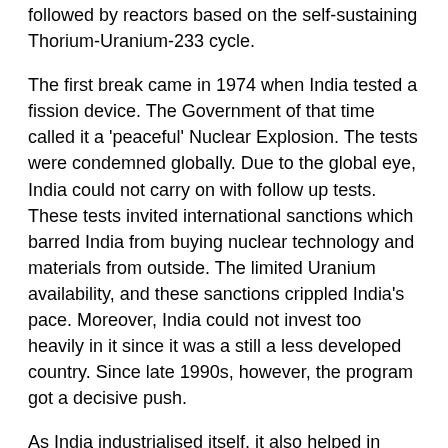other Uranium-233 or thorium in the blanket, and eventually followed by reactors based on the self-sustaining Thorium-Uranium-233 cycle.
The first break came in 1974 when India tested a fission device. The Government of that time called it a 'peaceful' Nuclear Explosion. The tests were condemned globally. Due to the global eye, India could not carry on with follow up tests. These tests invited international sanctions which barred India from buying nuclear technology and materials from outside. The limited Uranium availability, and these sanctions crippled India's pace. Moreover, India could not invest too heavily in it since it was a still a less developed country. Since late 1990s, however, the program got a decisive push.
As India industrialised itself, it also helped in accelerating India's nuclear program.
The unexpected nuclear tests in Pokhran in 1998 which were again followed up by US sanctions were the result of this acceleration.